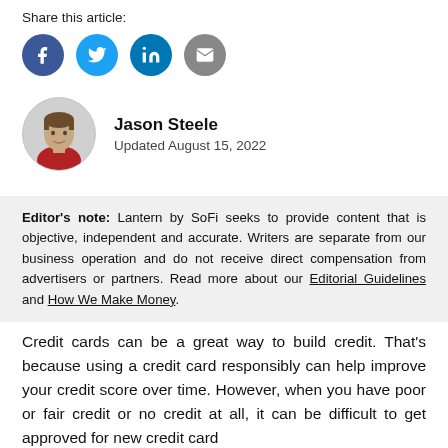Share this article:
[Figure (infographic): Social share icons: Facebook (blue circle), Twitter (blue circle), LinkedIn (blue circle), Email (grey circle)]
[Figure (photo): Circular headshot photo of Jason Steele]
Jason Steele
Updated August 15, 2022
Editor's note: Lantern by SoFi seeks to provide content that is objective, independent and accurate. Writers are separate from our business operation and do not receive direct compensation from advertisers or partners. Read more about our Editorial Guidelines and How We Make Money.
Credit cards can be a great way to build credit. That’s because using a credit card responsibly can help improve your credit score over time. However, when you have poor or fair credit or no credit at all, it can be difficult to get approved for new credit card